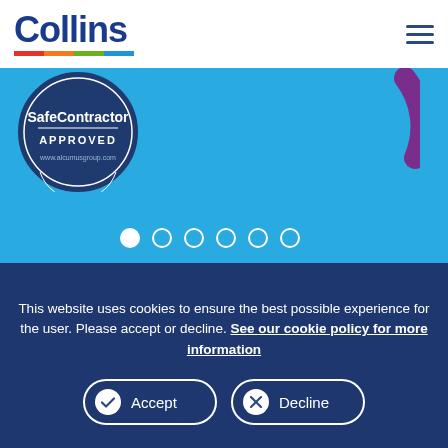[Figure (logo): Collins company logo with colored underline stripes (red, orange, green, blue)]
[Figure (logo): SafeContractor Approved badge/seal from Alcumus Group]
[Figure (illustration): Purple partial arc/circle on right side of light blue banner]
[Figure (infographic): Carousel navigation dots — 6 circles, first one filled white (active)]
[Figure (other): Social media icons sidebar: Twitter, LinkedIn, Instagram, Facebook]
This website uses cookies to ensure the best possible experience for the user. Please accept or decline. See our cookie policy for more information
Accept
Decline